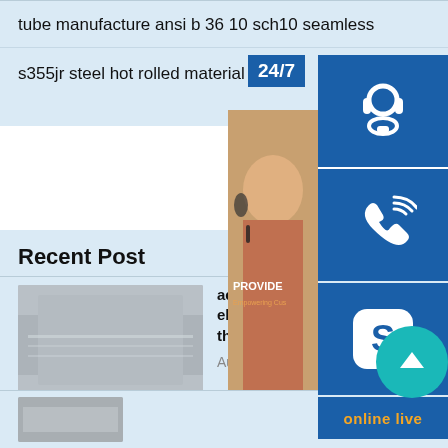tube manufacture ansi b 36 10 sch10 seamless
s355jr steel hot rolled material
Recent Post
[Figure (photo): Steel plate/sheet product photo]
ac250v 16a factory supply electric oven capillary thermostat
August 29, 2020
[Figure (photo): Customer service overlay with 24/7, headset icon, phone icon, Skype icon, online live button]
[Figure (photo): Scroll to top teal button]
[Figure (photo): Bottom post image thumbnail]